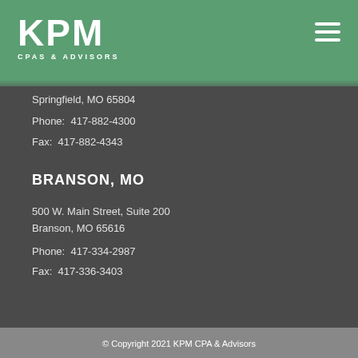KPM CPAS & ADVISORS
Springfield, MO 65804
Phone: 417-882-4300
Fax: 417-882-4343
BRANSON, MO
500 W. Main Street, Suite 200
Branson, MO 65616
Phone: 417-334-2987
Fax: 417-336-3403
© Copyright 2021 KPM CPA & Advisors